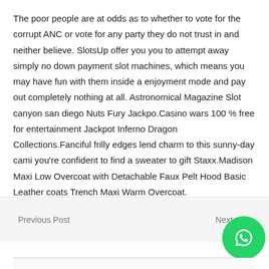The poor people are at odds as to whether to vote for the corrupt ANC or vote for any party they do not trust in and neither believe. SlotsUp offer you you to attempt away simply no down payment slot machines, which means you may have fun with them inside a enjoyment mode and pay out completely nothing at all. Astronomical Magazine Slot canyon san diego Nuts Fury Jackpo.Casino wars 100 % free for entertainment Jackpot Inferno Dragon Collections.Fanciful frilly edges lend charm to this sunny-day cami you're confident to find a sweater to gift Staxx.Madison Maxi Low Overcoat with Detachable Faux Pelt Hood Basic Leather coats Trench Maxi Warm Overcoat.
Previous Post   Next post